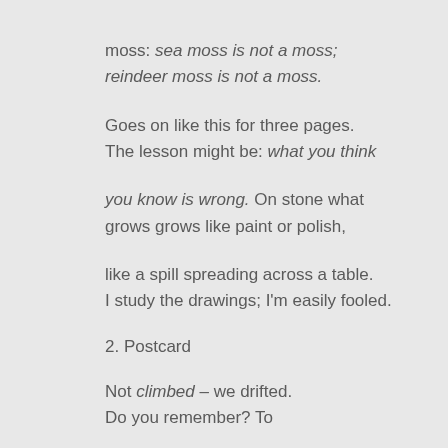moss: sea moss is not a moss;
reindeer moss is not a moss.
Goes on like this for three pages.
The lesson might be: what you think
you know is wrong. On stone what
grows grows like paint or polish,
like a spill spreading across a table.
I study the drawings; I'm easily fooled.
2. Postcard
Not climbed – we drifted.
Do you remember? To